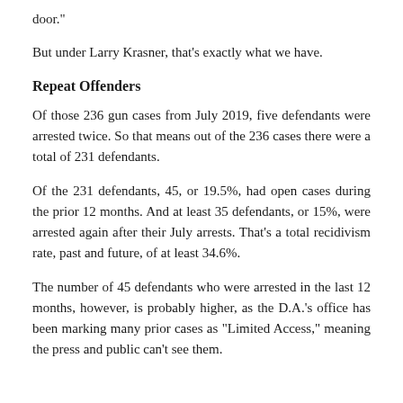door."
But under Larry Krasner, that's exactly what we have.
Repeat Offenders
Of those 236 gun cases from July 2019, five defendants were arrested twice. So that means out of the 236 cases there were a total of 231 defendants.
Of the 231 defendants, 45, or 19.5%, had open cases during the prior 12 months. And at least 35 defendants, or 15%, were arrested again after their July arrests. That's a total recidivism rate, past and future, of at least 34.6%.
The number of 45 defendants who were arrested in the last 12 months, however, is probably higher, as the D.A.'s office has been marking many prior cases as "Limited Access," meaning the press and public can't see them.